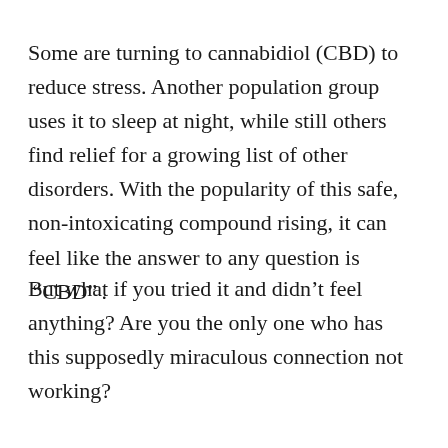Some are turning to cannabidiol (CBD) to reduce stress. Another population group uses it to sleep at night, while still others find relief for a growing list of other disorders. With the popularity of this safe, non-intoxicating compound rising, it can feel like the answer to any question is “CBD”.
But what if you tried it and didn’t feel anything? Are you the only one who has this supposedly miraculous connection not working?